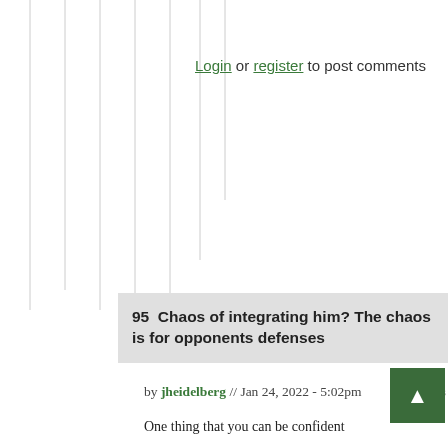Login or register to post comments
95  Chaos of integrating him? The chaos is for opponents defenses
by jheidelberg // Jan 24, 2022 - 5:02pm
One thing that you can be confident